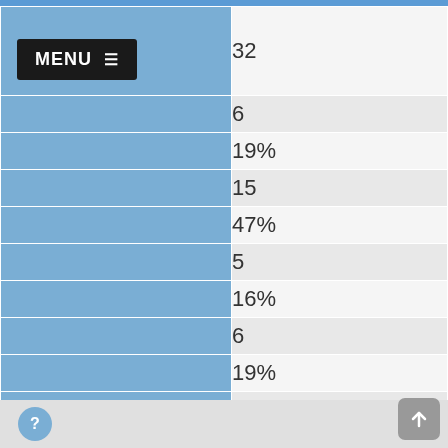|  | Value |
| --- | --- |
| MENU ≡ | 32 |
|  | 6 |
|  | 19% |
|  | 15 |
|  | 47% |
|  | 5 |
|  | 16% |
|  | 6 |
|  | 19% |
|  | 11 |
|  | 34% |